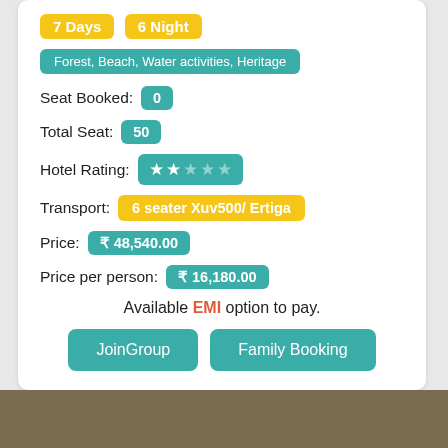7 Days  6 Night
Forest, Beach, Water activities, Heritage
Seat Booked: 0
Total Seat: 50
Hotel Rating: ★★☆☆☆
Transport: 6 seater Xuv500/ Ertiga
Price: ₹ 48,540.00
Price per person: ₹ 16,180.00
Available EMI option to pay.
JoinGroup  Family Booking